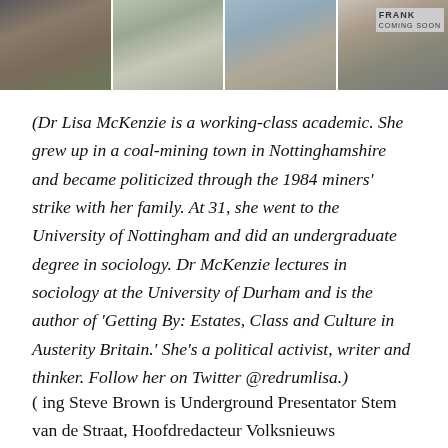[Figure (photo): A horizontal strip of four photographs showing different people, partially cropped at the top of the page.]
(Dr Lisa McKenzie is a working-class academic. She grew up in a coal-mining town in Nottinghamshire and became politicized through the 1984 miners' strike with her family. At 31, she went to the University of Nottingham and did an undergraduate degree in sociology. Dr McKenzie lectures in sociology at the University of Durham and is the author of 'Getting By: Estates, Class and Culture in Austerity Britain.' She's a political activist, writer and thinker. Follow her on Twitter @redrumlisa.)
( ing Steve Brown is Underground Presentator Stem van de Straat, Hoofdredacteur Volksnieuws